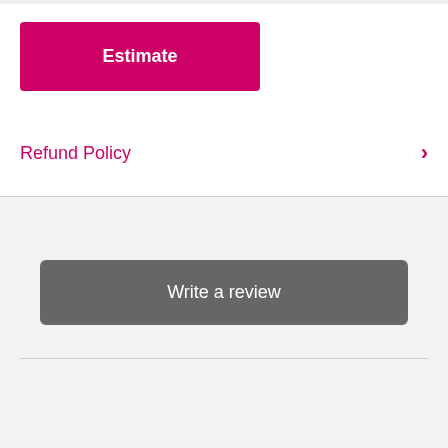[Figure (screenshot): Pink/magenta 'Estimate' button]
Refund Policy
[Figure (screenshot): Gray 'Write a review' button on light gray background]